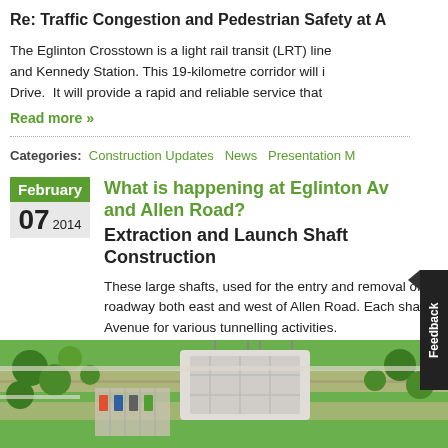Re: Traffic Congestion and Pedestrian Safety at A
The Eglinton Crosstown is a light rail transit (LRT) line and Kennedy Station. This 19-kilometre corridor will i Drive. It will provide a rapid and reliable service that
Read more »
Categories: Construction Updates News Presentation M
What is happening at Eglinton Av and Allen Road? Extraction and Launch Shaft Construction
These large shafts, used for the entry and removal of roadway both east and west of Allen Road. Each sha Avenue for various tunnelling activities.
[Figure (photo): Aerial rendering/illustration of construction site showing extraction and launch shaft construction at Eglinton Avenue and Allen Road, with green trees, roadways, and construction structures visible.]